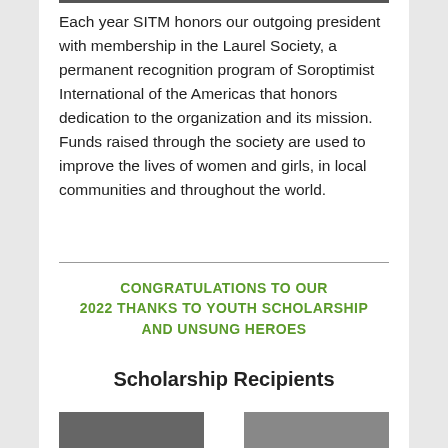Each year SITM honors our outgoing president with membership in the Laurel Society, a permanent recognition program of Soroptimist International of the Americas that honors dedication to the organization and its mission. Funds raised through the society are used to improve the lives of women and girls, in local communities and throughout the world.
CONGRATULATIONS TO OUR 2022 THANKS TO YOUTH SCHOLARSHIP AND UNSUNG HEROES
Scholarship Recipients
[Figure (photo): Two partially visible portrait photos at the bottom of the page]